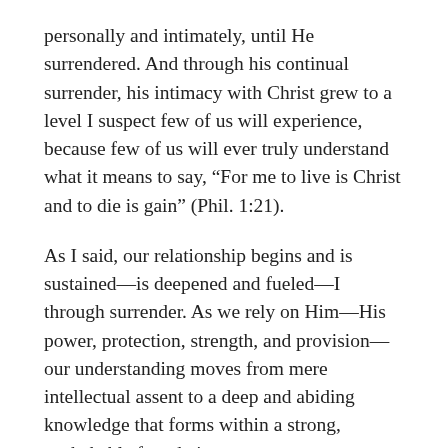personally and intimately, until He surrendered. And through his continual surrender, his intimacy with Christ grew to a level I suspect few of us will experience, because few of us will ever truly understand what it means to say, “For me to live is Christ and to die is gain” (Phil. 1:21).
As I said, our relationship begins and is sustained—is deepened and fueled—I through surrender. As we rely on Him—His power, protection, strength, and provision—our understanding moves from mere intellectual assent to a deep and abiding knowledge that forms within a strong, unshakable foundation.
“This is eternal life,” Christ said, while praying to the Father, “that they know You, the only true God, and Jesus Christ whom You have sent” (John 17:3, NIV). The word our Bibles translate as know, ginóskó in the original Greek, points to a deep intimacy acquired through experience.